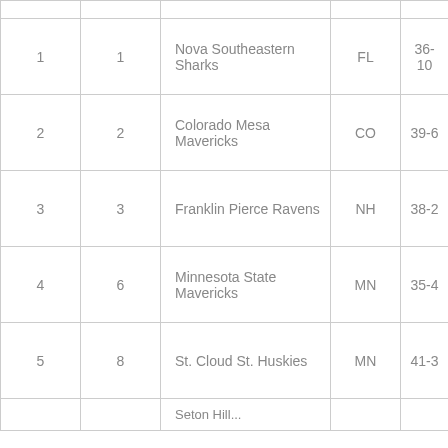| Rank | Previous | Team | State | Record |
| --- | --- | --- | --- | --- |
| 1 | 1 | Nova Southeastern Sharks | FL | 36-10 |
| 2 | 2 | Colorado Mesa Mavericks | CO | 39-6 |
| 3 | 3 | Franklin Pierce Ravens | NH | 38-2 |
| 4 | 6 | Minnesota State Mavericks | MN | 35-4 |
| 5 | 8 | St. Cloud St. Huskies | MN | 41-3 |
| 6 |  | Seton Hill... |  |  |